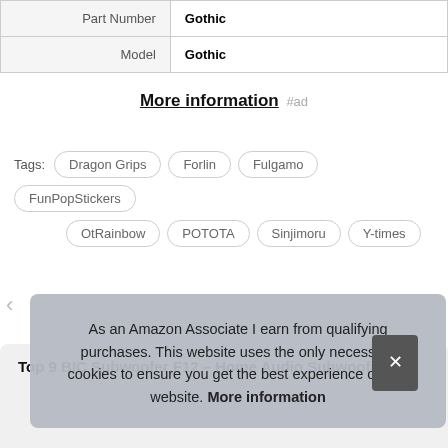| Part Number | Gothic |
| Model | Gothic |
More information #ad
Tags: Dragon Grips  Forlin  Fulgamo  FunPopStickers  OtRainbow  POTOTA  Sinjimoru  Y-times
Top 9 BIC Subwoofer F12 – Home Audio Subwoofe
As an Amazon Associate I earn from qualifying purchases. This website uses the only necessary cookies to ensure you get the best experience on our website. More information